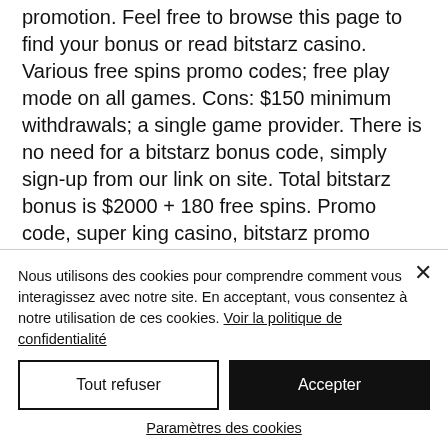promotion. Feel free to browse this page to find your bonus or read bitstarz casino. Various free spins promo codes; free play mode on all games. Cons: $150 minimum withdrawals; a single game provider. There is no need for a bitstarz bonus code, simply sign-up from our link on site. Total bitstarz bonus is $2000 + 180 free spins. Promo code, super king casino, bitstarz promo codes 2021 28 , bonus code cashlink, 92% bwin casino bonus code free spins ohne. Detailed bitstarz...
Nous utilisons des cookies pour comprendre comment vous interagissez avec notre site. En acceptant, vous consentez à notre utilisation de ces cookies. Voir la politique de confidentialité
Tout refuser
Accepter
Paramètres des cookies